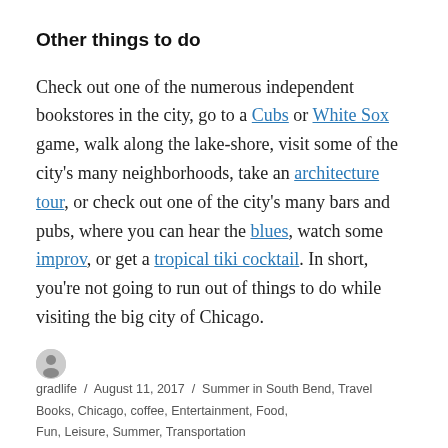Other things to do
Check out one of the numerous independent bookstores in the city, go to a Cubs or White Sox game, walk along the lake-shore, visit some of the city's many neighborhoods, take an architecture tour, or check out one of the city's many bars and pubs, where you can hear the blues, watch some improv, or get a tropical tiki cocktail. In short, you're not going to run out of things to do while visiting the big city of Chicago.
gradlife / August 11, 2017 / Summer in South Bend, Travel / Books, Chicago, coffee, Entertainment, Food, Fun, Leisure, Summer, Transportation